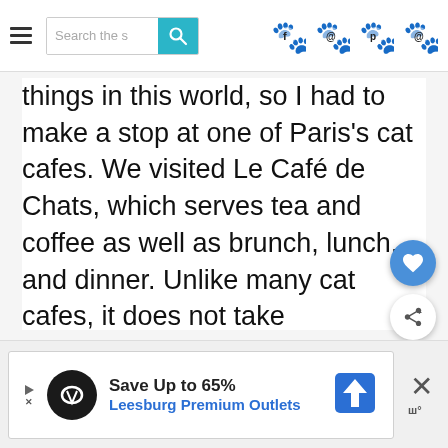Search the site | [paw icons navigation]
things in this world, so I had to make a stop at one of Paris's cat cafes. We visited Le Café de Chats, which serves tea and coffee as well as brunch, lunch, and dinner. Unlike many cat cafes, it does not take reservations.
[Figure (screenshot): Ad banner: Save Up to 65% Leesburg Premium Outlets with logo and direction icon]